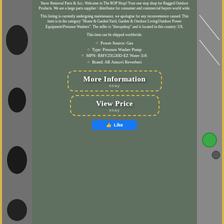Snow Removal Parts & Acc. Welcome to The ROP Shop! Your one stop shop for Rugged Outdoor Products. We are a large parts supplier / distributor for consumer and commercial buyers world wide.
This listing is currently undergoing maintenance, we apologise for any inconvenience caused. This item is in the category "Home & Garden\Yard, Garden & Outdoor Living\Outdoor Power Equipment\Pressure Washers". The seller is "theropshop" and is located in this country: US.
This item can be shipped worldwide.
Power Source: Gas
Type: Pressure Washer Pump
MPN: RMV25G30D-EZ Water 3/4\
Brand: AR Annovi Reverberi
[Figure (screenshot): eBay button: More Information with dashed gold border]
[Figure (screenshot): eBay button: View Price with dashed gold border]
[Figure (screenshot): Facebook Like button]